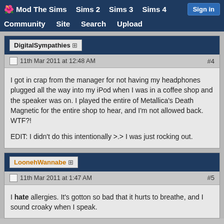Mod The Sims  Sims 2  Sims 3  Sims 4  Sign in  Community  Site  Search  Upload
DigitalSympathies +
11th Mar 2011 at 12:48 AM  #4
I got in crap from the manager for not having my headphones plugged all the way into my iPod when I was in a coffee shop and the speaker was on. I played the entire of Metallica's Death Magnetic for the entire shop to hear, and I'm not allowed back. WTF?!

EDIT: I didn't do this intentionally >.> I was just rocking out.
LoonehWannabe +
11th Mar 2011 at 1:47 AM  #5
I hate allergies. It's gotton so bad that it hurts to breathe, and I sound croaky when I speak.